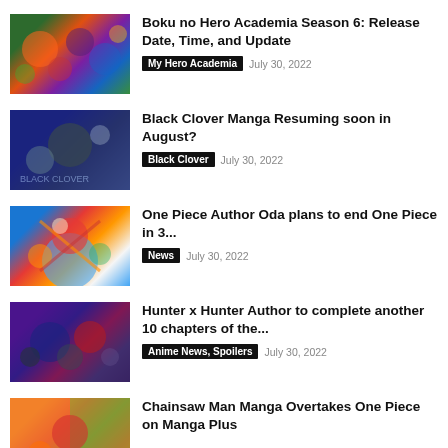[Figure (photo): My Hero Academia anime characters collage thumbnail]
Boku no Hero Academia Season 6: Release Date, Time, and Update
My Hero Academia   July 30, 2022
[Figure (photo): Black Clover manga cover thumbnail]
Black Clover Manga Resuming soon in August?
Black Clover   July 30, 2022
[Figure (photo): One Piece anime characters thumbnail]
One Piece Author Oda plans to end One Piece in 3...
News   July 30, 2022
[Figure (photo): Hunter x Hunter anime characters thumbnail]
Hunter x Hunter Author to complete another 10 chapters of the...
Anime News, Spoilers   July 30, 2022
[Figure (photo): Chainsaw Man manga thumbnail]
Chainsaw Man Manga Overtakes One Piece on Manga Plus